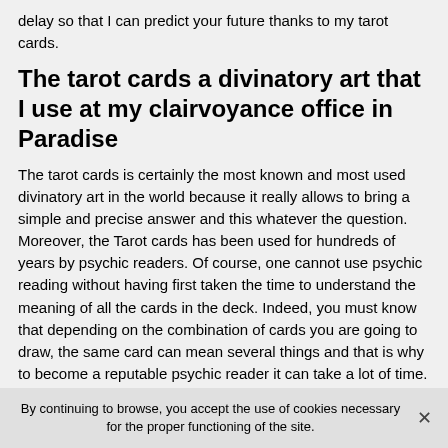delay so that I can predict your future thanks to my tarot cards.
The tarot cards a divinatory art that I use at my clairvoyance office in Paradise
The tarot cards is certainly the most known and most used divinatory art in the world because it really allows to bring a simple and precise answer and this whatever the question. Moreover, the Tarot cards has been used for hundreds of years by psychic readers. Of course, one cannot use psychic reading without having first taken the time to understand the meaning of all the cards in the deck. Indeed, you must know that depending on the combination of cards you are going to draw, the same card can mean several things and that is why to become a reputable psychic reader it can take a lot of time.
By continuing to browse, you accept the use of cookies necessary for the proper functioning of the site.